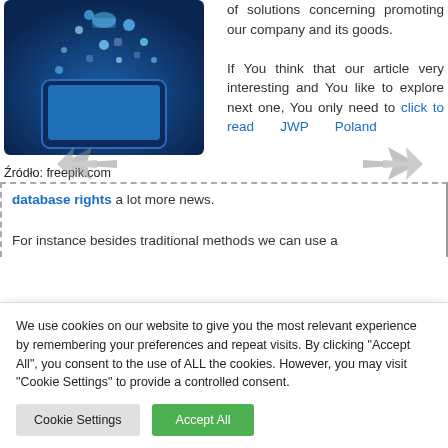[Figure (photo): Illustration of a tablet computer with digital icons floating above it on a blue background]
Źródło: freepik.com
of solutions concerning promoting our company and its goods.

If You think that our article very interesting and You like to explore next one, You only need to click to read JWP Poland database rights a lot more news.

For instance besides traditional methods we can use a
We use cookies on our website to give you the most relevant experience by remembering your preferences and repeat visits. By clicking "Accept All", you consent to the use of ALL the cookies. However, you may visit "Cookie Settings" to provide a controlled consent.